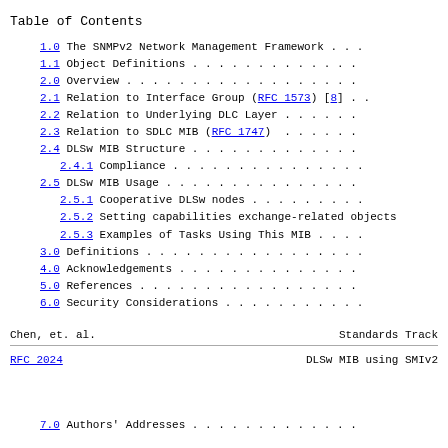Table of Contents
1.0  The SNMPv2 Network Management Framework  . . .
1.1  Object Definitions . . . . . . . . . . . . .
2.0  Overview . . . . . . . . . . . . . . . . . .
2.1  Relation to Interface Group (RFC 1573) [8] . .
2.2  Relation to Underlying DLC Layer . . . . . .
2.3  Relation to SDLC MIB (RFC 1747) . . . . . .
2.4  DLSw MIB Structure . . . . . . . . . . . . .
2.4.1  Compliance . . . . . . . . . . . . . . . .
2.5  DLSw MIB Usage . . . . . . . . . . . . . . .
2.5.1  Cooperative DLSw nodes . . . . . . . . . .
2.5.2  Setting capabilities exchange-related objects
2.5.3  Examples of Tasks Using This MIB . . . . .
3.0  Definitions . . . . . . . . . . . . . . . . .
4.0  Acknowledgements . . . . . . . . . . . . . .
5.0  References . . . . . . . . . . . . . . . . .
6.0  Security Considerations . . . . . . . . . . .
Chen, et. al.                    Standards Track
RFC 2024                    DLSw MIB using SMIv2
7.0  Authors' Addresses . . . . . . . . . . . . .